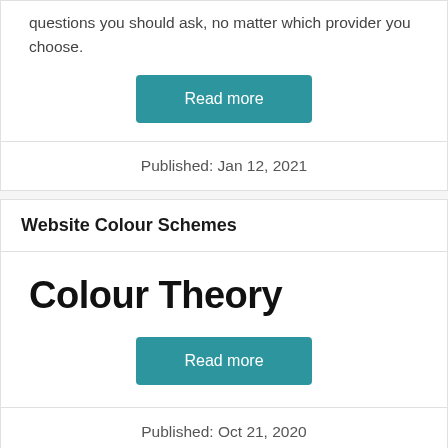questions you should ask, no matter which provider you choose.
Read more
Published: Jan 12, 2021
Website Colour Schemes
Colour Theory
Read more
Published: Oct 21, 2020